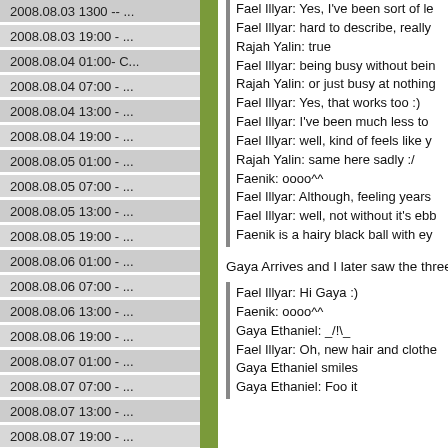2008.08.03 1300 -- ...
2008.08.03 19:00 - ...
2008.08.04 01:00- C...
2008.08.04 07:00 - ...
2008.08.04 13:00 - ...
2008.08.04 19:00 - ...
2008.08.05 01:00 - ...
2008.08.05 07:00 - ...
2008.08.05 13:00 - ...
2008.08.05 19:00 - ...
2008.08.06 01:00 - ...
2008.08.06 07:00 - ...
2008.08.06 13:00 - ...
2008.08.06 19:00 - ...
2008.08.07 01:00 - ...
2008.08.07 07:00 - ...
2008.08.07 13:00 - ...
2008.08.07 19:00 - ...
2008.08.08 01:00 - ...
Fael Illyar: Yes, I've been sort of le
Fael Illyar: hard to describe, really
Rajah Yalin: true
Fael Illyar: being busy without bein
Rajah Yalin: or just busy at nothing
Fael Illyar: Yes, that works too :)
Fael Illyar: I've been much less to
Fael Illyar: well, kind of feels like y
Rajah Yalin: same here sadly :/
Faenik: oooo^^
Fael Illyar: Although, feeling years
Fael Illyar: well, not without it's ebb
Faenik is a hairy black ball with ey
Gaya Arrives and I later saw the three
Fael Illyar: Hi Gaya :)
Faenik: oooo^^
Gaya Ethaniel: _/!\_
Fael Illyar: Oh, new hair and clothe
Gaya Ethaniel smiles
Gaya Ethaniel: Foo it